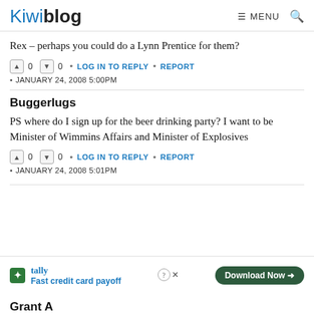Kiwiblog
Rex – perhaps you could do a Lynn Prentice for them?
0 0 • LOG IN TO REPLY • REPORT
• JANUARY 24, 2008 5:00PM
Buggerlugs
PS where do I sign up for the beer drinking party? I want to be Minister of Wimmins Affairs and Minister of Explosives
0 0 • LOG IN TO REPLY • REPORT
• JANUARY 24, 2008 5:01PM
[Figure (screenshot): Tally advertisement banner: Fast credit card payoff with Download Now button]
Grant A